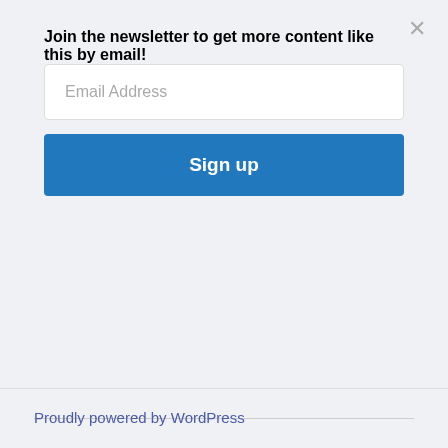Join the newsletter to get more content like this by email!
Email Address
Sign up
Proudly powered by WordPress